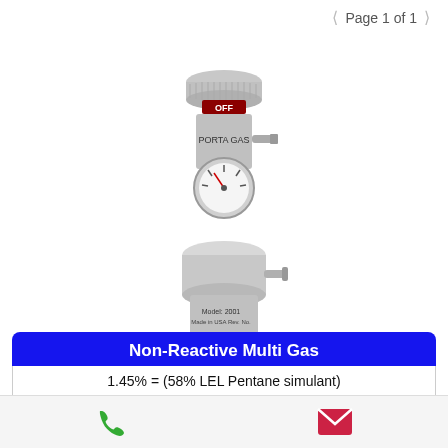Page 1 of 1
[Figure (photo): Two gas regulator/valve devices shown. Top device is a Porta Gas branded regulator with OFF label and a pressure gauge. Bottom device is a Model 2001 regulator made in USA with a round pressure gauge.]
Non-Reactive Multi Gas
1.45% = (58% LEL Pentane simulant)
Phone and email contact icons